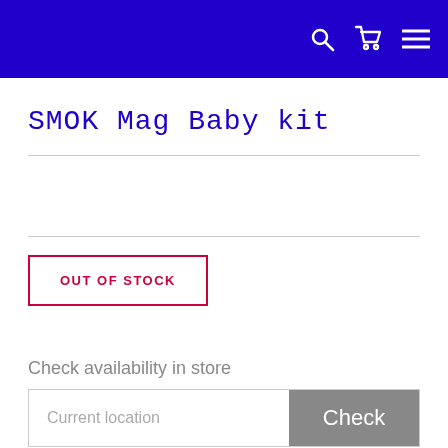Navigation bar with search, cart, and menu icons
SMOK Mag Baby kit
OUT OF STOCK
Check availability in store
Current location  Check